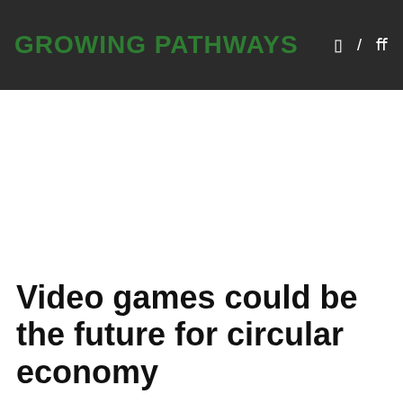GROWING PATHWAYS
Video games could be the future for circular economy
22 November 2015 / Growing Pathways / 0 Comment / news, Uncategorized